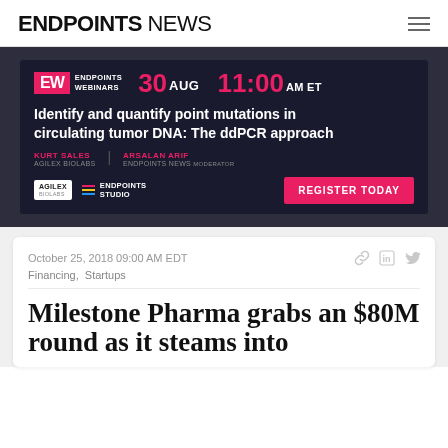ENDPOINTS NEWS
[Figure (infographic): Endpoints Webinars advertisement banner: 30 AUG 11:00 AM ET. Title: Identify and quantify point mutations in circulating tumor DNA: The ddPCR approach. Speakers: Kurt Sales (Agilex Biolabs) and Arsalan Arif (Endpoints News Moderator). Logos: Agilex Biolabs, Endpoints Studio. Register Today button.]
October 25, 2018 09:00 AM EDT
Financing,  Startups
Milestone Pharma grabs an $80M round as it steams into